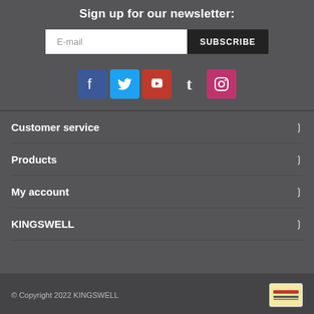Sign up for our newsletter:
[Figure (screenshot): Email input field with placeholder 'E-mail' and SUBSCRIBE button]
[Figure (infographic): Row of social media icons: Facebook, Twitter, YouTube, Tumblr, Instagram]
Customer service
Products
My account
KINGSWELL
© Copyright 2022 KINGSWELL